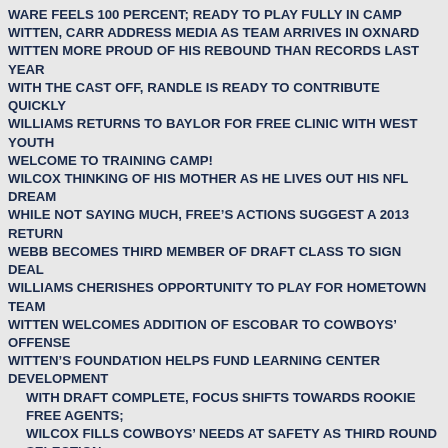WARE FEELS 100 PERCENT; READY TO PLAY FULLY IN CAMP
WITTEN, CARR ADDRESS MEDIA AS TEAM ARRIVES IN OXNARD
WITTEN MORE PROUD OF HIS REBOUND THAN RECORDS LAST YEAR
WITH THE CAST OFF, RANDLE IS READY TO CONTRIBUTE QUICKLY
WILLIAMS RETURNS TO BAYLOR FOR FREE CLINIC WITH WEST YOUTH
WELCOME TO TRAINING CAMP!
WILCOX THINKING OF HIS MOTHER AS HE LIVES OUT HIS NFL DREAM
WHILE NOT SAYING MUCH, FREE'S ACTIONS SUGGEST A 2013 RETURN
WEBB BECOMES THIRD MEMBER OF DRAFT CLASS TO SIGN DEAL
WILLIAMS CHERISHES OPPORTUNITY TO PLAY FOR HOMETOWN TEAM
WITTEN WELCOMES ADDITION OF ESCOBAR TO COWBOYS’ OFFENSE
WITTEN’S FOUNDATION HELPS FUND LEARNING CENTER DEVELOPMENT
WITH DRAFT COMPLETE, FOCUS SHIFTS TOWARDS ROOKIE FREE AGENTS;
WILCOX FILLS COWBOYS’ NEEDS AT SAFETY AS THIRD ROUND SELECTION
WARE TALKS SHOULDER REHAB; CLARIFIES HIS ROMO COMMENTS
WARE, HATCHER HOST EVENT; RAISE MONEY FOR CHILDHOOD HUNGER
WEBB HAS WEALTH OF EXPERIENCE, POTENTIAL FOR MIDROUND PICK
WILLIAMS COULD BE BEST DEFENSIVE TACKLE OPTION FOR DALLAS AT NO. 18
WVU SPEEDSTER AUSTIN OFFERS ENTICING TALENTS